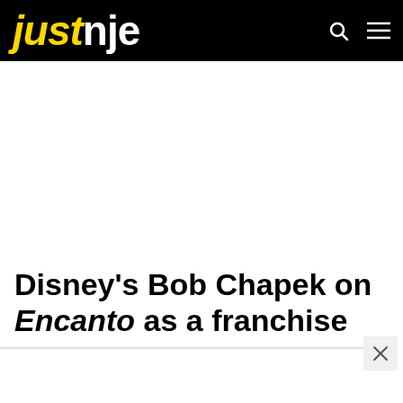justnje
Disney's Bob Chapek on Encanto as a franchise